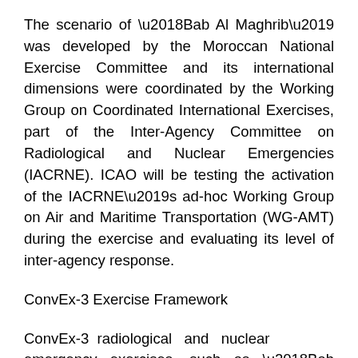The scenario of ‘Bab Al Maghrib’ was developed by the Moroccan National Exercise Committee and its international dimensions were coordinated by the Working Group on Coordinated International Exercises, part of the Inter-Agency Committee on Radiological and Nuclear Emergencies (IACRNE). ICAO will be testing the activation of the IACRNE’s ad-hoc Working Group on Air and Maritime Transportation (WG-AMT) during the exercise and evaluating its level of inter-agency response.
ConvEx-3 Exercise Framework
ConvEx-3 radiological and nuclear emergency exercises, such as ‘Bab Al